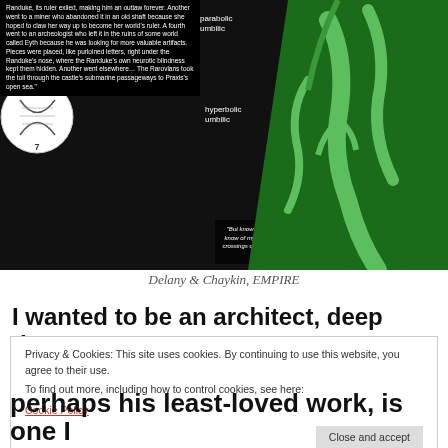[Figure (illustration): Comic book panel from Empire by Delany & Chaykin showing a dark science fiction scene. Left side contains text boxes with narrative text on black background. Center-right shows circular inset diagrams labeled 6 and 7 with labels 'parabolic umbilic' and 'hyperbolic umbilic'. Right side features a green alien/insect-like figure. A quote box appears at bottom center.]
Delany & Chaykin, EMPIRE
I wanted to be an architect, deep down.
Privacy & Cookies: This site uses cookies. By continuing to use this website, you agree to their use.
To find out more, including how to control cookies, see here:
Cookie Policy
perhaps his least-loved work, is one I